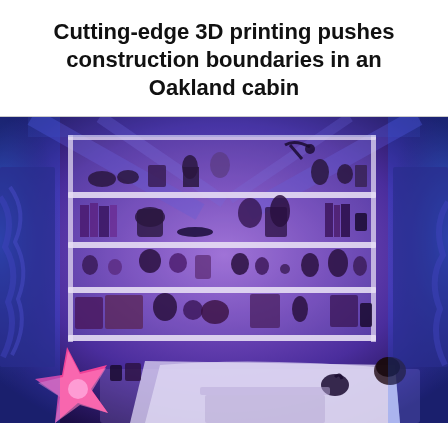Cutting-edge 3D printing pushes construction boundaries in an Oakland cabin
[Figure (photo): Interior of a 3D-printed cabin room bathed in blue-purple lighting. The room features white built-in shelving units filled with decorative objects and books, a bed with white linens where a person is lying down, a glowing pink star-shaped lamp in the foreground lower left, and textured walls illuminated with blue LED light.]